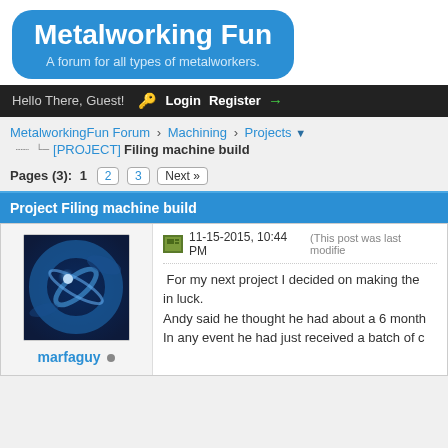Metalworking Fun
A forum for all types of metalworkers.
Hello There, Guest! Login Register
MetalworkingFun Forum › Machining › Projects
[PROJECT] Filing machine build
Pages (3): 1 2 3 Next »
Project Filing machine build
11-15-2015, 10:44 PM (This post was last modifie...
[Figure (photo): User avatar for marfaguy showing blue swirling abstract design]
marfaguy
For my next project I decided on making the... in luck. Andy said he thought he had about a 6 month... In any event he had just received a batch of c...